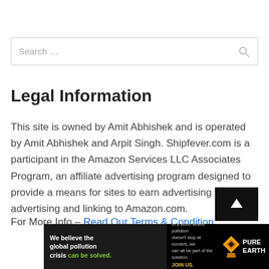Search …
Legal Information
This site is owned by Amit Abhishek and is operated by Amit Abhishek and Arpit Singh. Shipfever.com is a participant in the Amazon Services LLC Associates Program, an affiliate advertising program designed to provide a means for sites to earn advertising fees by advertising and linking to Amazon.com.
For More Info – Read Our Terms & Condition
[Figure (other): Advertisement banner for Pure Earth organization with text 'We believe the global pollution crisis can be solved.' and 'In a world where pollution doesn't stop at borders, we can all be part of the solution. JOIN US.' with Pure Earth logo]